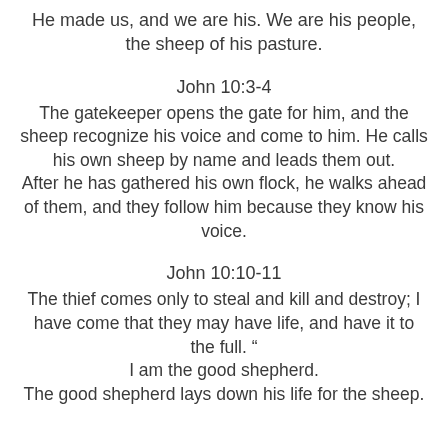He made us, and we are his. We are his people, the sheep of his pasture.
John 10:3-4
The gatekeeper opens the gate for him, and the sheep recognize his voice and come to him. He calls his own sheep by name and leads them out. After he has gathered his own flock, he walks ahead of them, and they follow him because they know his voice.
John 10:10-11
The thief comes only to steal and kill and destroy; I have come that they may have life, and have it to the full. “ I am the good shepherd. The good shepherd lays down his life for the sheep.